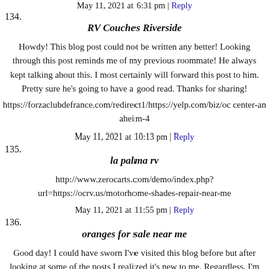May 11, 2021 at 6:31 pm | Reply
134. RV Couches Riverside
Howdy! This blog post could not be written any better! Looking through this post reminds me of my previous roommate! He always kept talking about this. I most certainly will forward this post to him. Pretty sure he's going to have a good read. Thanks for sharing!
https://forzaclubdefrance.com/redirect1/https://yelp.com/biz/oc center-anaheim-4
May 11, 2021 at 10:13 pm | Reply
135. la palma rv
http://www.zerocarts.com/demo/index.php?url=https://ocrv.us/motorhome-shades-repair-near-me
May 11, 2021 at 11:55 pm | Reply
136. oranges for sale near me
Good day! I could have sworn I've visited this blog before but after looking at some of the posts I realized it's new to me. Regardless, I'm definitely pleased I discovered it and I'll be bookmarking it and checking back often!